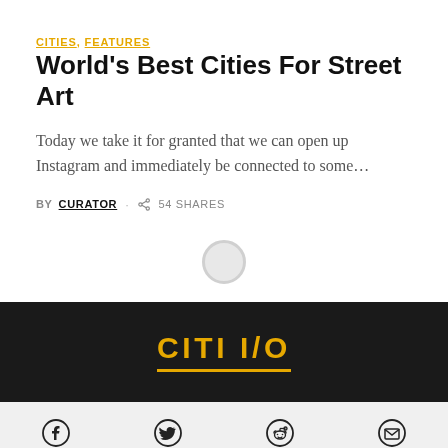CITIES, FEATURES
World's Best Cities For Street Art
Today we take it for granted that we can open up Instagram and immediately be connected to some...
BY CURATOR · 54 SHARES
[Figure (other): Loading spinner / circular loader indicator]
[Figure (logo): CITI I/O logo in gold/yellow on black background with underline]
[Figure (infographic): Social share icon bar with Facebook, Twitter, Reddit, and Email icons on light gray background]